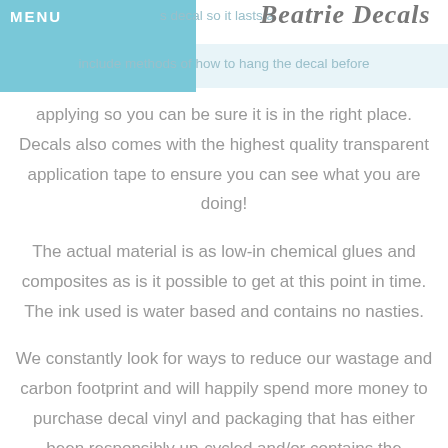MENU | s decal so it lasts a... Beatrie Decals include methods of how to hang the decal before
applying so you can be sure it is in the right place. Decals also comes with the highest quality transparent application tape to ensure you can see what you are doing! The actual material is as low-in chemical glues and composites as is it possible to get at this point in time. The ink used is water based and contains no nasties. We constantly look for ways to reduce our wastage and carbon footprint and will happily spend more money to purchase decal vinyl and packaging that has either been responsibly up-cycled and/or contains the absolute minimum